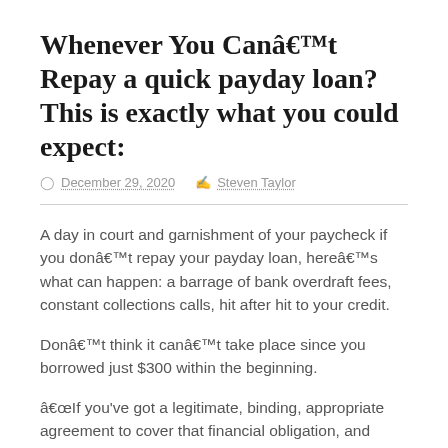Whenever You Canâ€™t Repay a quick payday loan? This is exactly what you could expect:
© December 29, 2020   â Steven Taylor
A day in court and garnishment of your paycheck if you donâ€™t repay your payday loan, hereâ€™s what can happen: a barrage of bank overdraft fees, constant collections calls, hit after hit to your credit.
Donâ€™t think it canâ€™t take place since you borrowed just $300 within the beginning.
â€œIf you’ve got a legitimate, binding, appropriate agreement to cover that financial obligation, and